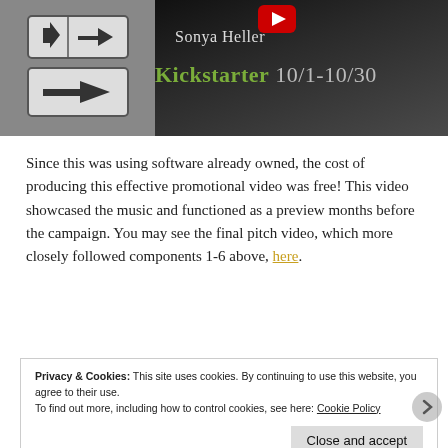[Figure (screenshot): YouTube video thumbnail showing road signs on the left (black and white photo), a YouTube play button icon top center-right, 'Sonya Heller' text, and 'Kickstarter 10/1-10/30' in green and gray text on a dark background.]
Since this was using software already owned, the cost of producing this effective promotional video was free! This video showcased the music and functioned as a preview months before the campaign. You may see the final pitch video, which more closely followed components 1-6 above, here.
Privacy & Cookies: This site uses cookies. By continuing to use this website, you agree to their use.
To find out more, including how to control cookies, see here: Cookie Policy
Close and accept